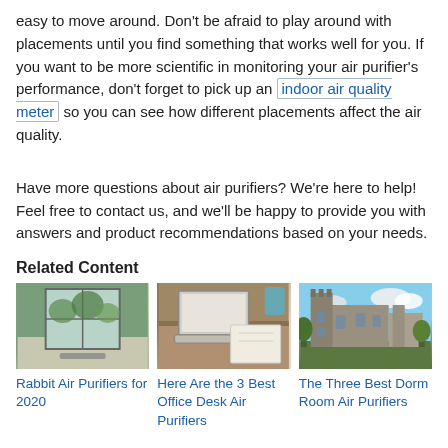easy to move around. Don't be afraid to play around with placements until you find something that works well for you. If you want to be more scientific in monitoring your air purifier's performance, don't forget to pick up an indoor air quality meter so you can see how different placements affect the air quality.
Have more questions about air purifiers? We're here to help! Feel free to contact us, and we'll be happy to provide you with answers and product recommendations based on your needs.
Related Content
[Figure (photo): Air purifier or device near a window with greenery visible outside]
Rabbit Air Purifiers for 2020
[Figure (photo): Laptop computer open on a wooden desk with notebook]
Here Are the 3 Best Office Desk Air Purifiers
[Figure (photo): Gothic-style university building with blue sky and trees]
The Three Best Dorm Room Air Purifiers